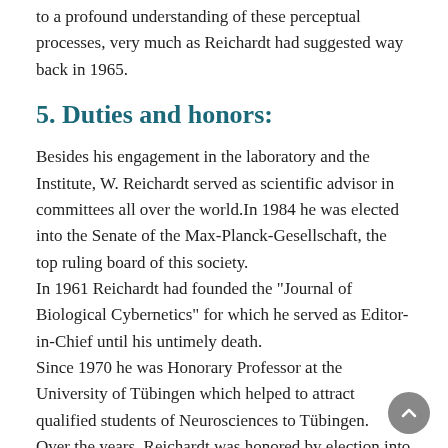to a profound understanding of these perceptual processes, very much as Reichardt had suggested way back in 1965.
5. Duties and honors:
Besides his engagement in the laboratory and the Institute, W. Reichardt served as scientific advisor in committees all over the world.In 1984 he was elected into the Senate of the Max-Planck-Gesellschaft, the top ruling board of this society.
In 1961 Reichardt had founded the "Journal of Biological Cybernetics" for which he served as Editor-in-Chief until his untimely death.
Since 1970 he was Honorary Professor at the University of Tübingen which helped to attract qualified students of Neurosciences to Tübingen.
Over the years, Reichardt was honored by election into